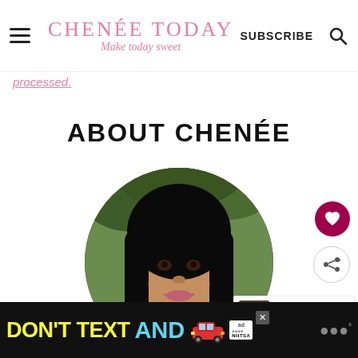CHENÉE TODAY Make today sweet | SUBSCRIBE
processed.
ABOUT CHENÉE
[Figure (photo): Circular portrait photo of Chenée, a smiling woman with long dark hair, outdoors with green foliage background.]
[Figure (infographic): What's Next panel showing a small image of Nutella Baked Oats with text label 'WHAT'S NEXT → Nutella Baked Oats']
[Figure (infographic): Ad banner at bottom: DON'T TEXT AND [car emoji] with NHTSA ad label and close button]